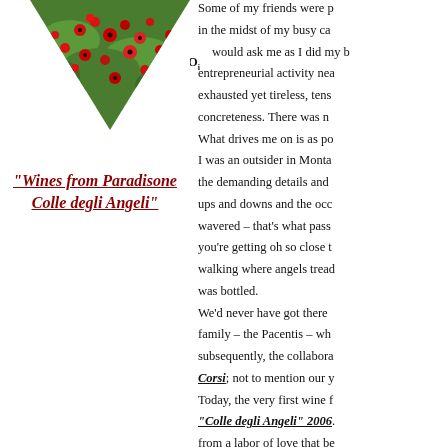[Figure (photo): Triangle-shaped photo of a poppy field with red poppies and green grass, inverted triangle orientation]
"Wines from Paradisone Colle degli Angeli"
Some of my friends were p in the midst of my busy ca would ask me as I did my b entrepreneurial activity nea exhausted yet tireless, tens concreteness. There was n What drives me on is as po I was an outsider in Monta the demanding details and ups and downs and the occ wavered – that's what pass you're getting oh so close t walking where angels tread was bottled. We'd never have got there family – the Pacentis – wh subsequently, the collabora Corsi; not to mention our y Today, the very first wine f "Colle degli Angeli" 2006. from a labor of love that be time in the future, notably